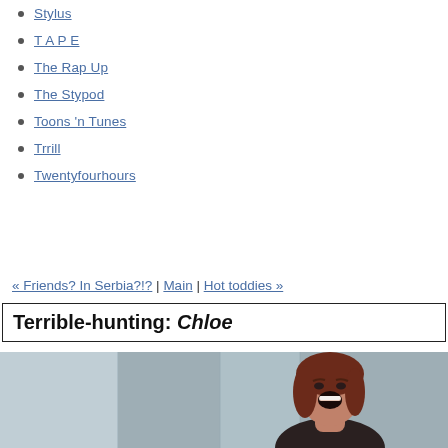Stylus
T A P E
The Rap Up
The Stypod
Toons 'n Tunes
Trrill
Twentyfourhours
« Friends? In Serbia?!? | Main | Hot toddies »
Terrible-hunting: Chloe
[Figure (photo): A woman with red/auburn hair, mouth open wide as if laughing or screaming, photographed in what appears to be a modern interior with glass panels visible in the background. The image is cropped at the bottom of the page.]